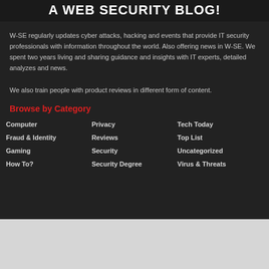A WEB SECURITY BLOG!
W-SE regularly updates cyber attacks, hacking and events that provide IT security professionals with information throughout the world. Also offering news in W-SE. We spent two years living and sharing guidance and insights with IT experts, detailed analyzes and news.
We also train people with product reviews in different form of content.
Browse by Category
Computer
Privacy
Tech Today
Fraud & Identity
Reviews
Top List
Gaming
Security
Uncategorized
How To?
Security Degree
Virus & Threats